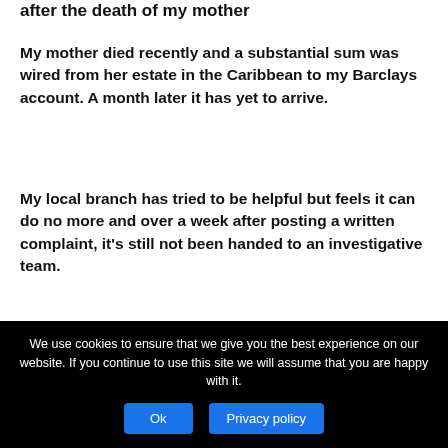after the death of my mother
My mother died recently and a substantial sum was wired from her estate in the Caribbean to my Barclays account. A month later it has yet to arrive.
My local branch has tried to be helpful but feels it can do no more and over a week after posting a written complaint, it's still not been handed to an investigative team.
I am finding this all very stressful. My daughter took her life six years ago, partly due to debt, and the lack of
We use cookies to ensure that we give you the best experience on our website. If you continue to use this site we will assume that you are happy with it.
Ok
Privacy policy